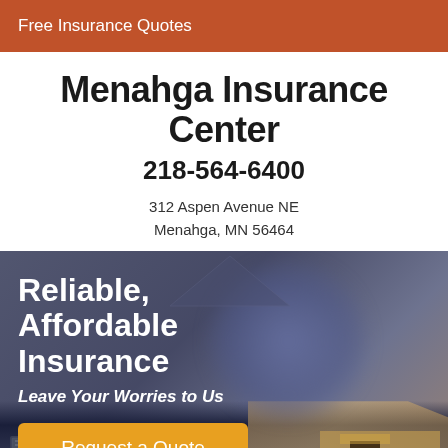Free Insurance Quotes
Menahga Insurance Center
218-564-6400
312 Aspen Avenue NE
Menahga, MN 56464
[Figure (photo): Hero image of a house exterior at dusk/night with overlay text and call-to-action button]
Reliable, Affordable Insurance
Leave Your Worries to Us
Request a Quote